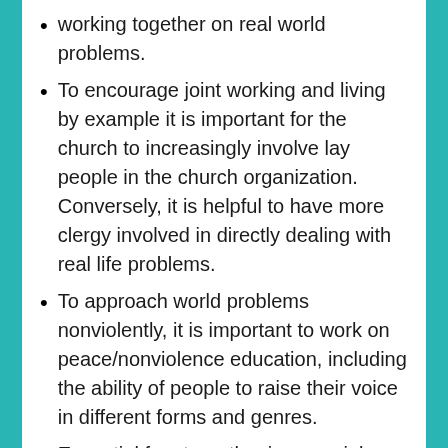working together on real world problems.
To encourage joint working and living by example it is important for the church to increasingly involve lay people in the church organization. Conversely, it is helpful to have more clergy involved in directly dealing with real life problems.
To approach world problems nonviolently, it is important to work on peace/nonviolence education, including the ability of people to raise their voice in different forms and genres.
Essential for strengthening nonviolence in the Catholic community is working with women on issues important for protecting her human security and rights. It is also essential to promote women's participation in society, including her participation in the church.
We should try to strengthen the dialogical capacity of the Catholic Church with regard to both